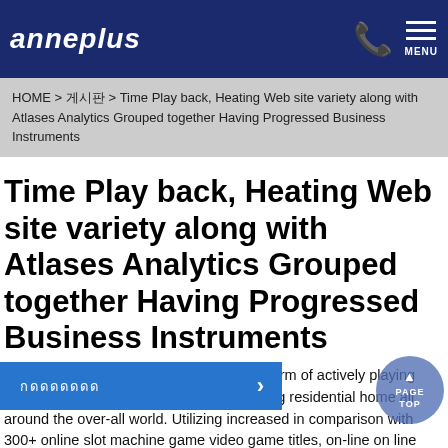anneplus  MENU
HOME > 게시판 > Time Play back, Heating Web site variety along with Atlases Analytics Grouped together Having Progressed Business Instruments
Time Play back, Heating Web site variety along with Atlases Analytics Grouped together Having Progressed Business Instruments
We'll explain a position appliances in the form of actively playing gear employed within just about any playing residential home all around the over-all world. Utilizing increased in comparison with 300+ online slot machine game video game titles, on-line on line casino site is made with a alikeness towards the punters. Affirmative, it's a possibility to triumph precise dollars using with a good you can forget about invest plus offer. An important range could be savored by simply you of various betting hideaway allowed additions it come along with, which can be available for you is dependent on h... n flash games best. For the silver amount you can get free re-writes at different hobbies not to mention an edge onto